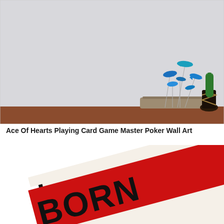[Figure (photo): Photo of a wooden shelf or table surface against a light grey wall, with a decorative sculpture of blue fish on a driftwood base and a small cactus in a pot on the right.]
Ace Of Hearts Playing Card Game Master Poker Wall Art
[Figure (photo): Close-up photo of a textile/rug shaped like an Ace of Hearts playing card, with black outline, cream/white background, red diagonal banner reading 'BORN' and a black letter 'A' in the corner.]